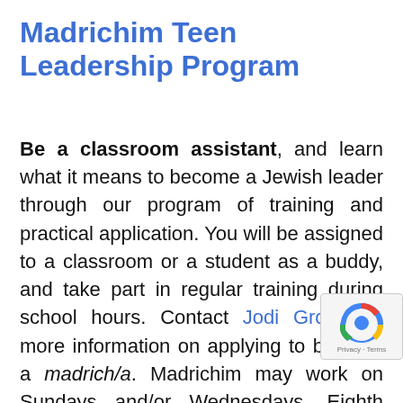Madrichim Teen Leadership Program
Be a classroom assistant, and learn what it means to become a Jewish leader through our program of training and practical application. You will be assigned to a classroom or a student as a buddy, and take part in regular training during school hours. Contact Jodi Gross for more information on applying to become a madrich/a. Madrichim may work on Sundays and/or Wednesdays. Eighth graders may receive volunteer hours; high schoolers may opt for volunteer hours, a stipend, or a combination of the two. Space is limited. This